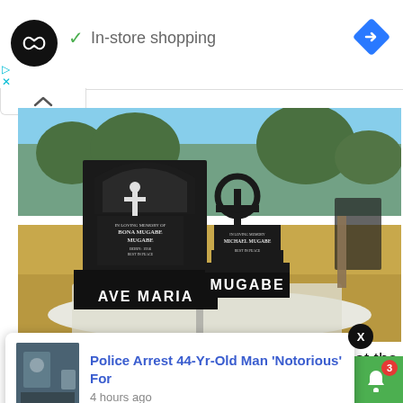[Figure (screenshot): Ad banner with circular logo, checkmark, 'In-store shopping' text, and blue navigation arrow icon]
[Figure (photo): Outdoor cemetery photo showing two black granite graves labeled 'AVE MARIA' and 'MUGABE' with gravestones, set against dry grass and trees]
The government had wanted to bury Mugabe at the family turned
[Figure (screenshot): Notification popup: 'Police Arrest 44-Yr-Old Man Notorious For' with thumbnail image, '4 hours ago', X close button]
10 Shares | Facebook | Twitter | WhatsApp | Messenger | Notification bell with badge 3